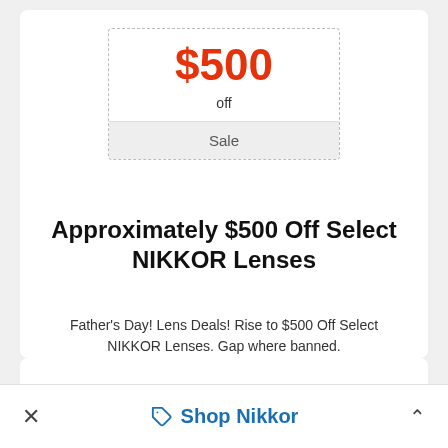$500 off — Sale
Approximately $500 Off Select NIKKOR Lenses
Father's Day! Lens Deals! Rise to $500 Off Select NIKKOR Lenses. Gap where banned.
Get Offer
in Nikon Coupons
Shop Nikkor